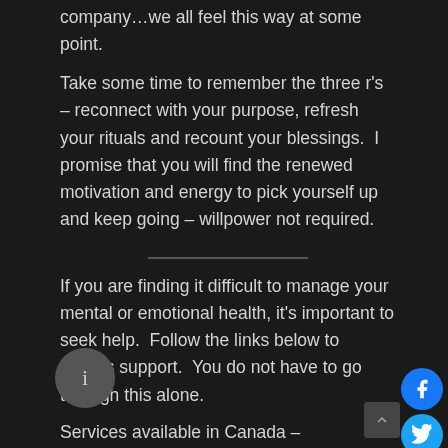company…we all feel this way at some point.
Take some time to remember the three r's – reconnect with your purpose, refresh your rituals and recount your blessings.  I promise that you will find the renewed motivation and energy to pick yourself up and keep going – willpower not required.
If you are finding it difficult to manage your mental or emotional health, it's important to seek help.  Follow the links below to access support.  You do not have to go through this alone.
Services available in Canada – https://www.canada.ca/en/public-health/services/mental-health-services/mental-health-get-help.html  Services available in USA – https://www.nimh.nih.gov/health/find-